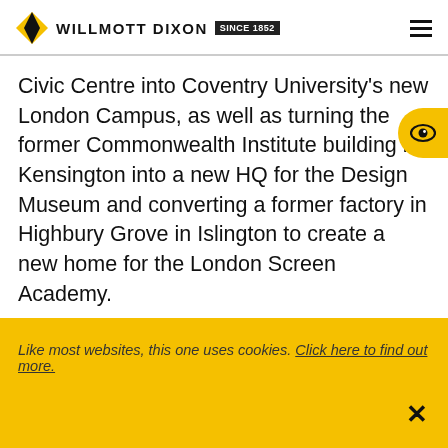WILLMOTT DIXON SINCE 1852
Civic Centre into Coventry University's new London Campus, as well as turning the former Commonwealth Institute building in Kensington into a new HQ for the Design Museum and converting a former factory in Highbury Grove in Islington to create a new home for the London Screen Academy.
Graham Shaw, managing director for Willmott Di...
Like most websites, this one uses cookies. Click here to find out more.